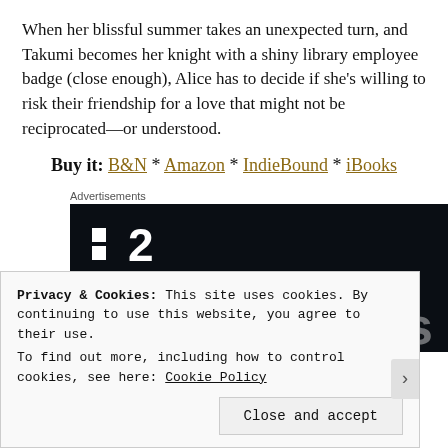When her blissful summer takes an unexpected turn, and Takumi becomes her knight with a shiny library employee badge (close enough), Alice has to decide if she's willing to risk their friendship for a love that might not be reciprocated—or understood.
Buy it: B&N * Amazon * IndieBound * iBooks
[Figure (screenshot): Advertisement banner with dark background showing a stylized logo with two squares and the number 2, and partial text at the bottom beginning with 'F']
Privacy & Cookies: This site uses cookies. By continuing to use this website, you agree to their use. To find out more, including how to control cookies, see here: Cookie Policy
Close and accept